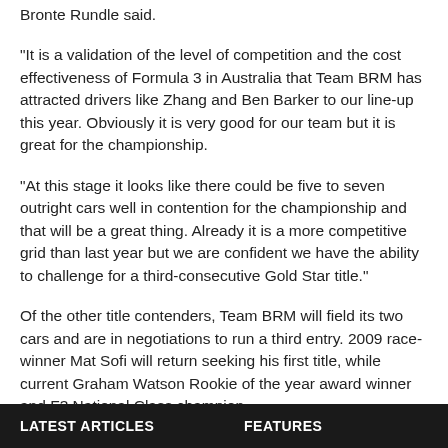Bronte Rundle said.
"It is a validation of the level of competition and the cost effectiveness of Formula 3 in Australia that Team BRM has attracted drivers like Zhang and Ben Barker to our line-up this year. Obviously it is very good for our team but it is great for the championship.
"At this stage it looks like there could be five to seven outright cars well in contention for the championship and that will be a great thing. Already it is a more competitive grid than last year but we are confident we have the ability to challenge for a third-consecutive Gold Star title."
Of the other title contenders, Team BRM will field its two cars and are in negotiations to run a third entry. 2009 race-winner Mat Sofi will return seeking his first title, while current Graham Watson Rookie of the year award winner and F3 National Class champion
LATEST ARTICLES    FEATURES